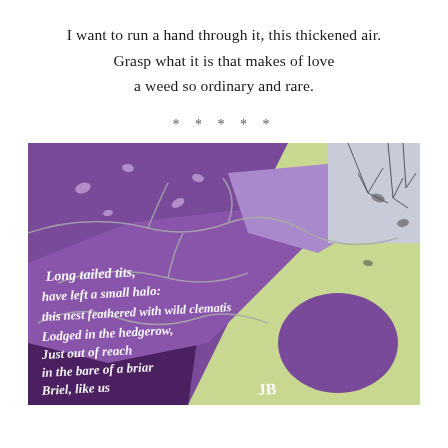I want to run a hand through it, this thickened air.
Grasp what it is that makes of love
a weed so ordinary and rare.
* * * * *
[Figure (photo): A textile artwork showing purple and yellow-green fabric with embroidered branches and leaves, featuring gothic script text reading: 'Long tailed tits, have left a small halo, this nest feathered with wild clematis, Lodged in the hedgerow, Just out of reach in the bare of a briar, Briel, like us JB']